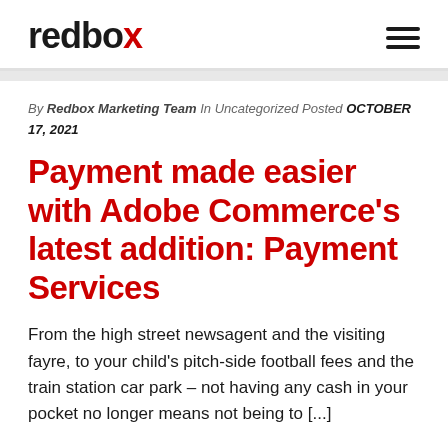redbox
By Redbox Marketing Team In Uncategorized Posted OCTOBER 17, 2021
Payment made easier with Adobe Commerce's latest addition: Payment Services
From the high street newsagent and the visiting fayre, to your child's pitch-side football fees and the train station car park – not having any cash in your pocket no longer means not being to [...]